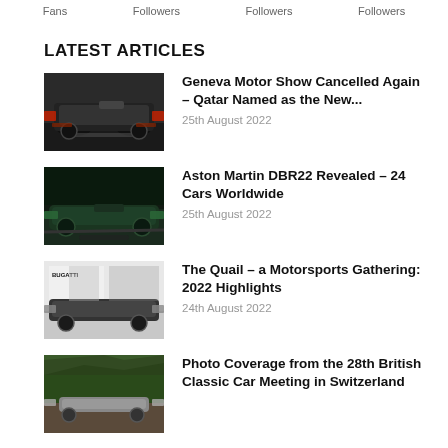Fans   Followers   Followers   Followers
LATEST ARTICLES
[Figure (photo): Dark car on motor show floor with red lighting and crowd]
Geneva Motor Show Cancelled Again – Qatar Named as the New...
25th August 2022
[Figure (photo): Green Aston Martin DBR22 sports car in dark forest setting]
Aston Martin DBR22 Revealed – 24 Cars Worldwide
25th August 2022
[Figure (photo): Bugatti car at Bugatti booth with crowds]
The Quail – a Motorsports Gathering: 2022 Highlights
24th August 2022
[Figure (photo): Classic car at mountain road in Switzerland]
Photo Coverage from the 28th British Classic Car Meeting in Switzerland